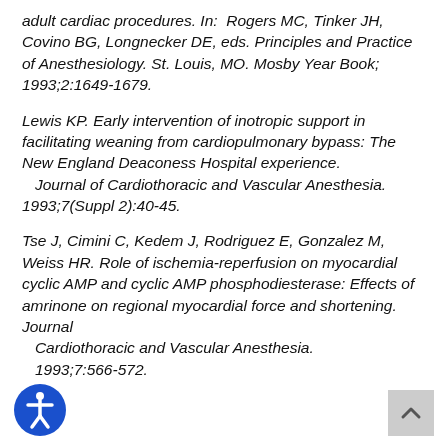adult cardiac procedures. In: Rogers MC, Tinker JH, Covino BG, Longnecker DE, eds. Principles and Practice of Anesthesiology. St. Louis, MO. Mosby Year Book; 1993;2:1649-1679.
Lewis KP. Early intervention of inotropic support in facilitating weaning from cardiopulmonary bypass: The New England Deaconess Hospital experience. Journal of Cardiothoracic and Vascular Anesthesia. 1993;7(Suppl 2):40-45.
Tse J, Cimini C, Kedem J, Rodriguez E, Gonzalez M, Weiss HR. Role of ischemia-reperfusion on myocardial cyclic AMP and cyclic AMP phosphodiesterase: Effects of amrinone on regional myocardial force and shortening. Journal Cardiothoracic and Vascular Anesthesia. 1993;7:566-572.